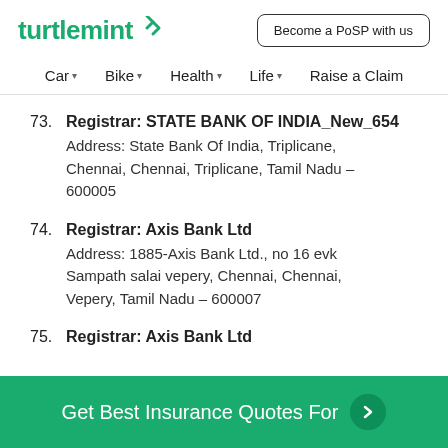turtlemint
Become a PoSP with us
Car  Bike  Health  Life  Raise a Claim
73. Registrar: STATE BANK OF INDIA_New_654
Address: State Bank Of India, Triplicane, Chennai, Chennai, Triplicane, Tamil Nadu – 600005
74. Registrar: Axis Bank Ltd
Address: 1885-Axis Bank Ltd., no 16 evk Sampath salai vepery, Chennai, Chennai, Vepery, Tamil Nadu – 600007
75. Registrar: Axis Bank Ltd
Get Best Insurance Quotes For